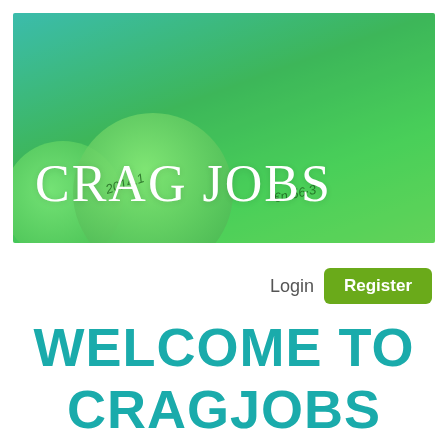[Figure (illustration): Green gradient hero banner with large white serif text 'CRAG JOBS' overlaid on a blurred background of green coins/currency. The background blends teal at top to bright green at bottom with circular coin shapes visible.]
CRAG JOBS
Login   Register
WELCOME TO CRAGJOBS